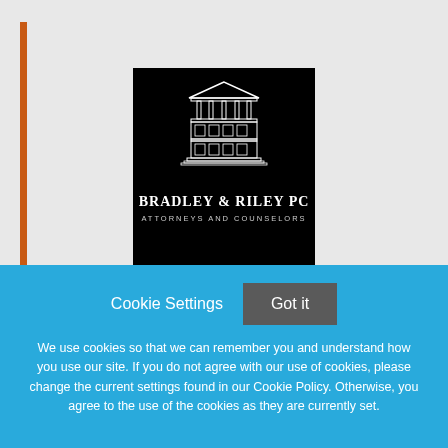[Figure (logo): Bradley & Riley PC law firm logo — black background with white line-art illustration of a multi-story courthouse/office building with columns and a pediment, below which appears the firm name 'BRADLEY & RILEY PC' and subtitle 'ATTORNEYS AND COUNSELORS']
Cookie Settings
Got it
We use cookies so that we can remember you and understand how you use our site. If you do not agree with our use of cookies, please change the current settings found in our Cookie Policy. Otherwise, you agree to the use of the cookies as they are currently set.